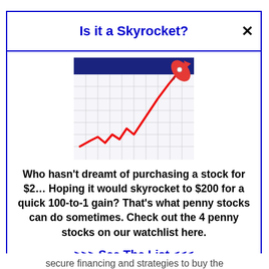Is it a Skyrocket?
[Figure (illustration): Stock chart icon showing a red upward-trending line graph on a grid background with a dark blue header bar, and a red rocket launching from the upper right corner.]
Who hasn't dreamt of purchasing a stock for $2… Hoping it would skyrocket to $200 for a quick 100-to-1 gain? That's what penny stocks can do sometimes. Check out the 4 penny stocks on our watchlist here.
>>> See The List <<<
secure financing and strategies to buy the